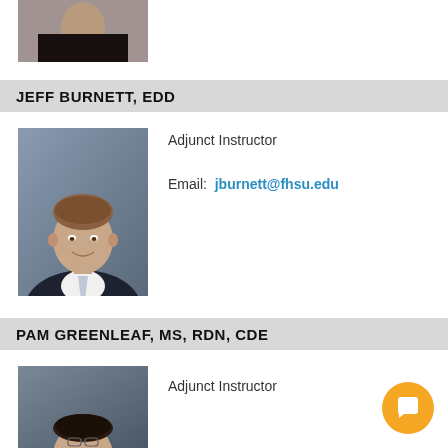[Figure (photo): Partial photo of a woman with long dark hair wearing a black top, cropped at the top of the page]
JEFF BURNETT, EDD
[Figure (photo): Professional headshot of Jeff Burnett, a man in a dark pinstripe suit with a light blue tie, smiling]
Adjunct Instructor
Email: jburnett@fhsu.edu
PAM GREENLEAF, MS, RDN, CDE
[Figure (photo): Partial photo of Pam Greenleaf, a woman with dark hair, cropped at bottom of page]
Adjunct Instructor